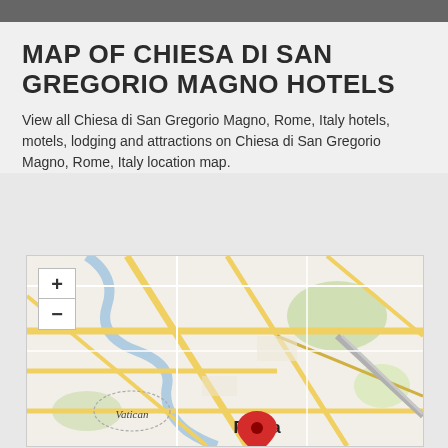MAP OF CHIESA DI SAN GREGORIO MAGNO HOTELS
View all Chiesa di San Gregorio Magno, Rome, Italy hotels, motels, lodging and attractions on Chiesa di San Gregorio Magno, Rome, Italy location map.
[Figure (map): Map showing Roma area with Vatican labeled, a red location pin marker near Roma city center, and zoom in/out controls on the upper left. Street map style with roads, rivers, and green park areas visible.]